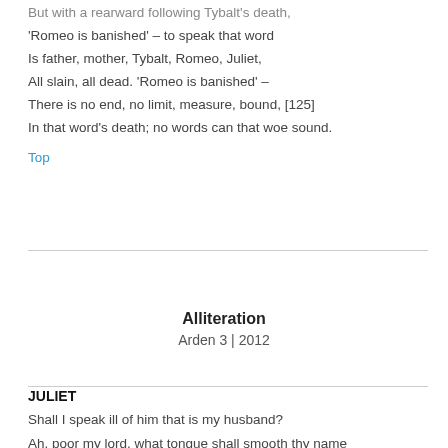But with a rearward following Tybalt's death,
'Romeo is banished' – to speak that word
Is father, mother, Tybalt, Romeo, Juliet,
All slain, all dead. 'Romeo is banished' –
There is no end, no limit, measure, bound,  [125]
In that word's death; no words can that woe sound.
Top
Alliteration
Arden 3 | 2012
JULIET
Shall I speak ill of him that is my husband?
Ah, poor my lord, what tongue shall smooth thy name